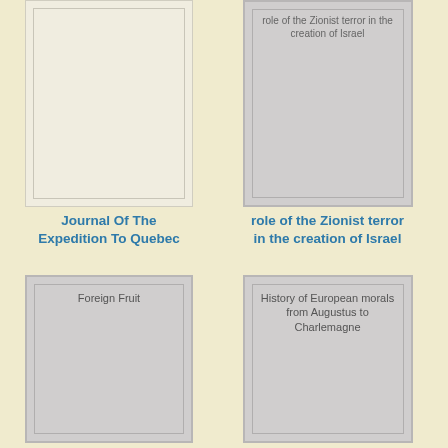[Figure (illustration): Book cover placeholder (cream/off-white) - partially cropped, Journal Of The Expedition To Quebec]
[Figure (illustration): Book cover placeholder (grey) with text 'role of the Zionist terror in the creation of Israel' at top - partially cropped]
Journal Of The Expedition To Quebec
role of the Zionist terror in the creation of Israel
[Figure (illustration): Book cover placeholder (grey) with text 'Foreign Fruit']
[Figure (illustration): Book cover placeholder (grey) with text 'History of European morals from Augustus to Charlemagne']